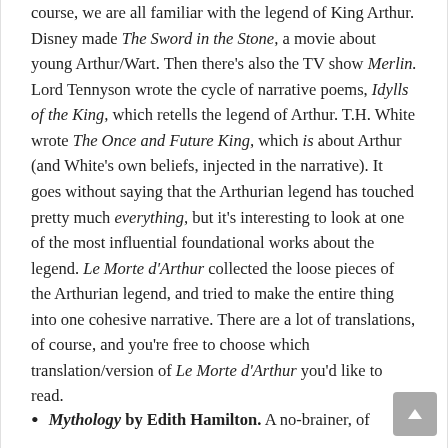course, we are all familiar with the legend of King Arthur. Disney made The Sword in the Stone, a movie about young Arthur/Wart. Then there's also the TV show Merlin. Lord Tennyson wrote the cycle of narrative poems, Idylls of the King, which retells the legend of Arthur. T.H. White wrote The Once and Future King, which is about Arthur (and White's own beliefs, injected in the narrative). It goes without saying that the Arthurian legend has touched pretty much everything, but it's interesting to look at one of the most influential foundational works about the legend. Le Morte d'Arthur collected the loose pieces of the Arthurian legend, and tried to make the entire thing into one cohesive narrative. There are a lot of translations, of course, and you're free to choose which translation/version of Le Morte d'Arthur you'd like to read.
Mythology by Edith Hamilton. A no-brainer, of